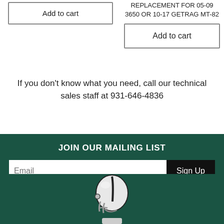Add to cart
REPLACEMENT FOR 05-09 3650 OR 10-17 GETRAG MT-82
Add to cart
If you don't know what you need, call our technical sales staff at 931-646-4836
JOIN OUR MAILING LIST
Email
Sign Up
[Figure (illustration): Mascot figure wearing a football helmet, rendered in black and white on dark green background]